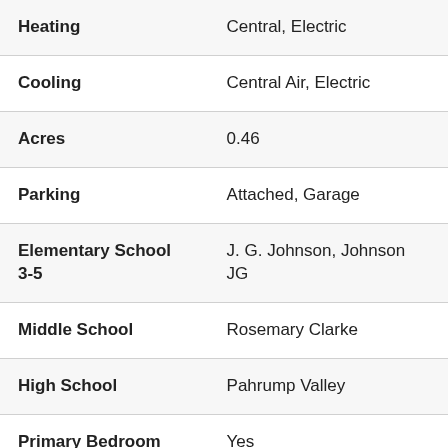| Property | Value |
| --- | --- |
| Heating | Central, Electric |
| Cooling | Central Air, Electric |
| Acres | 0.46 |
| Parking | Attached, Garage |
| Elementary School 3-5 | J. G. Johnson, Johnson JG |
| Middle School | Rosemary Clarke |
| High School | Pahrump Valley |
| Primary Bedroom Downstairs | Yes |
| Appliances | Dryer, ElectricDryer, Electric |